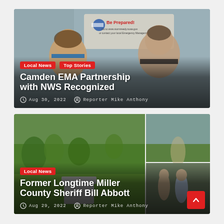[Figure (photo): Two people smiling indoors near a 'Be Prepared!' sign, one in blue shirt, one in dark polo]
Local News
Top Stories
Camden EMA Partnership with NWS Recognized
Aug 30, 2022  Reporter Mike Anthony
[Figure (photo): Outdoor scene with grass/trees, gravestone, and two people standing outside — split into left panel and two right panels]
Local News
Former Longtime Miller County Sheriff Bill Abbott
Aug 29, 2022  Reporter Mike Anthony